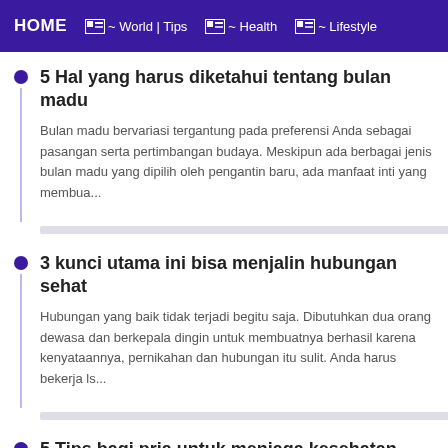HOME  ~ World | Tips  ~ Health  ~ Lifestyle
5 Hal yang harus diketahui tentang bulan madu
Bulan madu bervariasi tergantung pada preferensi Anda sebagai pasangan serta pertimbangan budaya. Meskipun ada berbagai jenis bulan madu yang dipilih oleh pengantin baru, ada manfaat inti yang membua...
3 kunci utama ini bisa menjalin hubungan sehat
Hubungan yang baik tidak terjadi begitu saja. Dibutuhkan dua orang dewasa dan berkepala dingin untuk membuatnya berhasil karena kenyataannya, pernikahan dan hubungan itu sulit. Anda harus bekerja ls...
5 Tips bagi pria untuk menjaga kesehatan.
Setiap manusia ingin tubuh mereka lebih baik sehat baik untuk pria dewasa maupun anak anak, begitu juga para wanita. banyak hal yang dilakukan agar seorang pria bisa menjaga kesehatan tubuh.  Il...